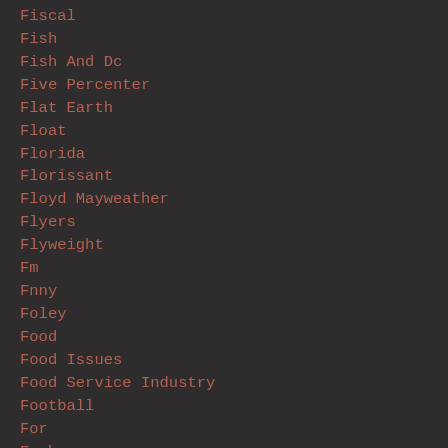Fiscal
Fish
Fish And Dc
Five Percenter
Flat Earth
Float
Florida
Florissant
Floyd Mayweather
Flyers
Flyweight
Fm
Fnny
Foley
Food
Food Issues
Food Service Industry
Football
For
Forbes
Ford